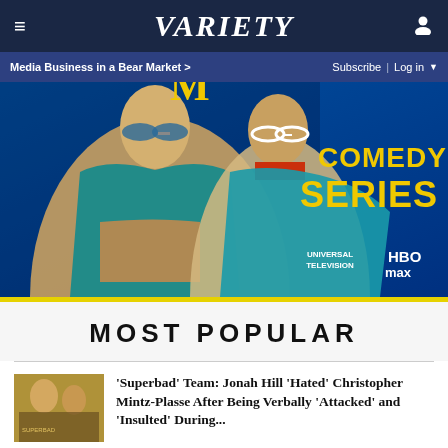≡  VARIETY  👤
Media Business in a Bear Market >   Subscribe | Log in ▼
[Figure (photo): HBO Max Universal Television comedy series advertisement showing two women, one older in teal jacket with leopard print, one younger with sunglasses, blue background with text 'COMEDY SERIES' in gold, Universal Television and HBO Max logos]
MOST POPULAR
'Superbad' Team: Jonah Hill 'Hated' Christopher Mintz-Plasse After Being Verbally 'Attacked' and 'Insulted' During...
[Figure (photo): Hacks Emmy consideration advertisement - dark background with 'Hacks' logo in gold script and text 'FOR YOUR EMMY® CONSIDERATION']